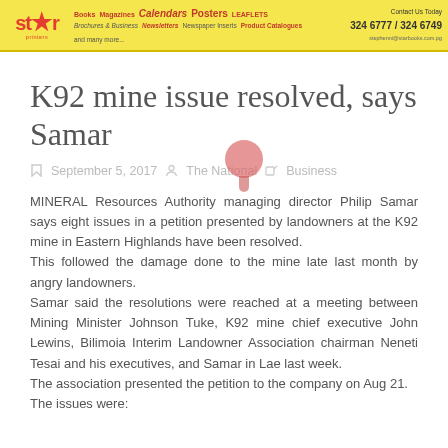[Figure (other): Star Printers banner advertisement showing logo, list of printing services (Books, Magazines, Calendars, Posters, Leaflets, Brochures, Newsletters, Newspaper Inserts, Product Catalogues and many more), and contact info: 324 6777 / 324 6749, stephenni@starbooks.com.pg]
K92 mine issue resolved, says Samar
September 5, 2017   The National   Business
MINERAL Resources Authority managing director Philip Samar says eight issues in a petition presented by landowners at the K92 mine in Eastern Highlands have been resolved. This followed the damage done to the mine late last month by angry landowners. Samar said the resolutions were reached at a meeting between Mining Minister Johnson Tuke, K92 mine chief executive John Lewins, Bilimoia Interim Landowner Association chairman Neneti Tesai and his executives, and Samar in Lae last week. The association presented the petition to the company on Aug 21. The issues were: